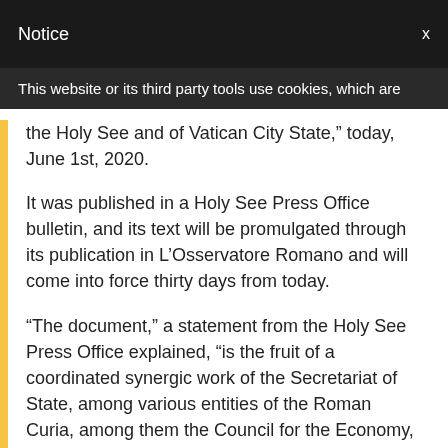Notice   x
This website or its third party tools use cookies, which are
the Holy See and of Vatican City State,” today, June 1st, 2020.
It was published in a Holy See Press Office bulletin, and its text will be promulgated through its publication in L’Osservatore Romano and will come into force thirty days from today.
“The document,” a statement from the Holy See Press Office explained, “is the fruit of a coordinated synergic work of the Secretariat of State, among various entities of the Roman Curia, among them the Council for the Economy, the Secretariat for the Economy, the Administration of the Patrimony of